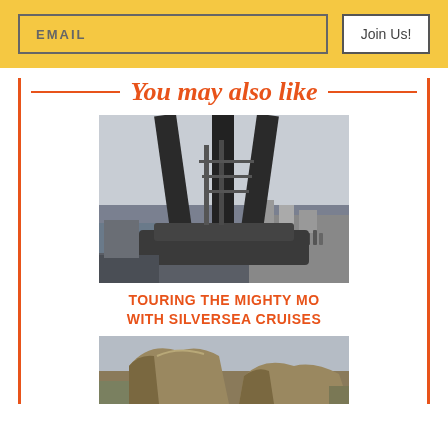EMAIL | Join Us!
You may also like
[Figure (photo): Large naval gun barrels on a battleship deck, viewed from below looking up, with cloudy sky and harbor in background, people visible on the deck]
TOURING THE MIGHTY MO WITH SILVERSEA CRUISES
[Figure (photo): Rocky coastal landscape with tan/brown rock formations against a grey sky]